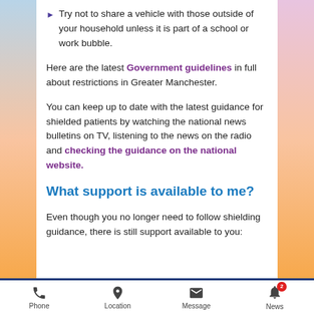Try not to share a vehicle with those outside of your household unless it is part of a school or work bubble.
Here are the latest Government guidelines in full about restrictions in Greater Manchester.
You can keep up to date with the latest guidance for shielded patients by watching the national news bulletins on TV, listening to the news on the radio and checking the guidance on the national website.
What support is available to me?
Even though you no longer need to follow shielding guidance, there is still support available to you:
Phone | Location | Message | News